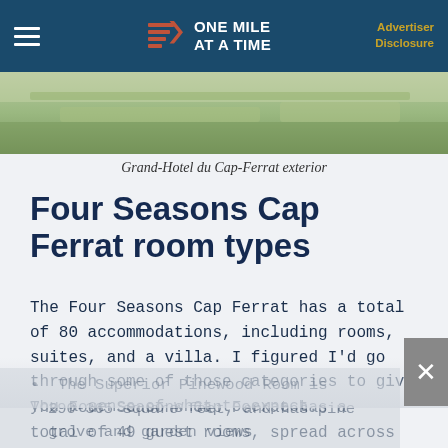ONE MILE AT A TIME | Advertiser Disclosure
[Figure (photo): Aerial photo of Grand-Hotel du Cap-Ferrat exterior showing green lawns and grounds]
Grand-Hotel du Cap-Ferrat exterior
Four Seasons Cap Ferrat room types
The Four Seasons Cap Ferrat has a total of 80 accommodations, including rooms, suites, and a villa. I figured I'd go through some of those categories to give you a sense of what to expect.
The Four Seasons Cap Ferrat has a total of 49 guest rooms, spread across three categories:
The Superior Pinewood Room is 290-365 square feet, and has pine grove and garden views